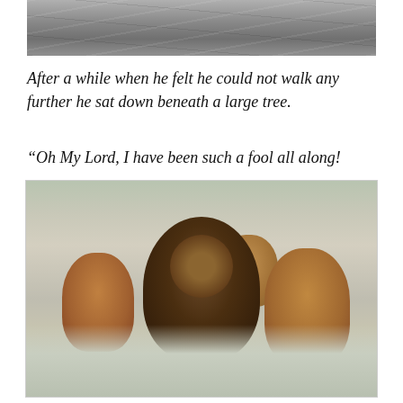[Figure (photo): Partial image of stone/rock wall texture at top of page (cropped, continuation from previous page)]
After a while when he felt he could not walk any further he sat down beneath a large tree.
“Oh My Lord, I have been such a fool all along!
[Figure (photo): A male lion walking toward the camera in frosty grassland, flanked by three lionesses also walking forward, in a wintry outdoor setting]
Why should I fear? Why should I grieve? When I was in